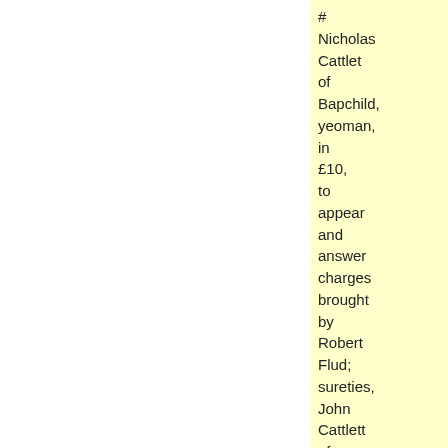# Nicholas Cattlet of Bapchild, yeoman, in £10, to appear and answer charges brought by Robert Flud; sureties, John Cattlett of Sittingbourne, yeoman and Thomas Piggen, [as in QM/SRc/1609/52 - ref.